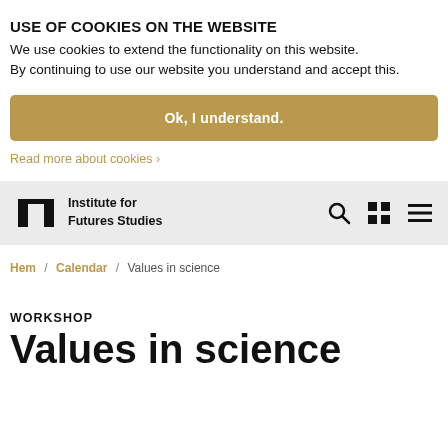USE OF COOKIES ON THE WEBSITE
We use cookies to extend the functionality on this website.
By continuing to use our website you understand and accept this.
Ok, I understand.
Read more about cookies ›
[Figure (logo): Institute for Futures Studies logo with navigation icons]
Hem / Calendar / Values in science
WORKSHOP
Values in science